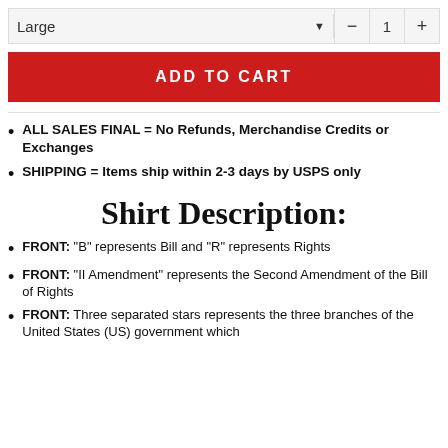Large ▼  −  1  +
ADD TO CART
ALL SALES FINAL = No Refunds, Merchandise Credits or Exchanges
SHIPPING = Items ship within 2-3 days by USPS only
Shirt Description:
FRONT: "B" represents Bill and "R" represents Rights
FRONT: "II Amendment" represents the Second Amendment of the Bill of Rights
FRONT: Three separated stars represents the three branches of the United States (US) government which